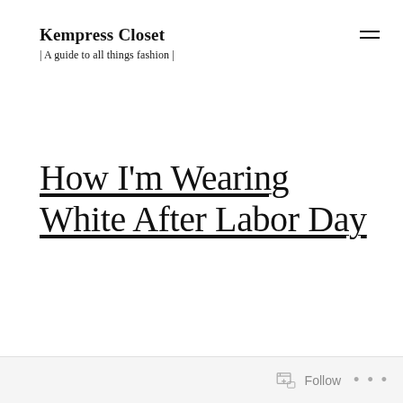Kempress Closet | A guide to all things fashion |
How I'm Wearing White After Labor Day
Follow ...